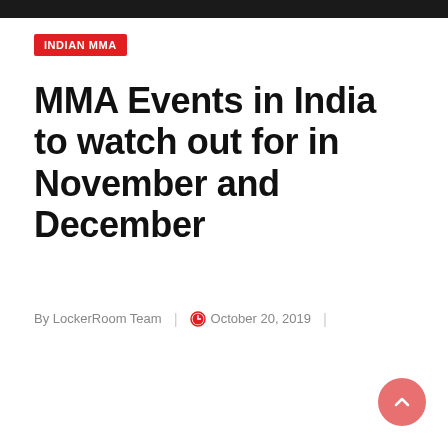[Figure (photo): Dark/black top image bar at the very top of the page]
INDIAN MMA
MMA Events in India to watch out for in November and December
By LockerRoom Team | October 20, 2019 |